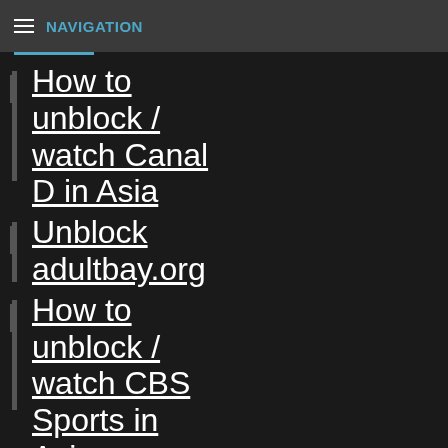NAVIGATION
How to unblock / watch Canal D in Asia
Unblock adultbay.org
How to unblock / watch CBS Sports in Asia